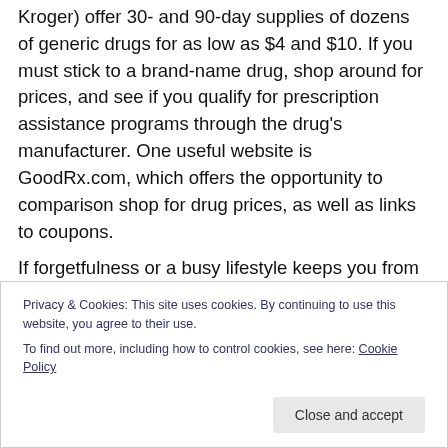Kroger) offer 30- and 90-day supplies of dozens of generic drugs for as low as $4 and $10. If you must stick to a brand-name drug, shop around for prices, and see if you qualify for prescription assistance programs through the drug's manufacturer. One useful website is GoodRx.com, which offers the opportunity to comparison shop for drug prices, as well as links to coupons.
If forgetfulness or a busy lifestyle keeps you from sticking to a medication routine, you may need to develop a strategy to stay on schedule. Suggestions include asking for reminders from family; using a seven-day pillbox;
Privacy & Cookies: This site uses cookies. By continuing to use this website, you agree to their use.
To find out more, including how to control cookies, see here: Cookie Policy